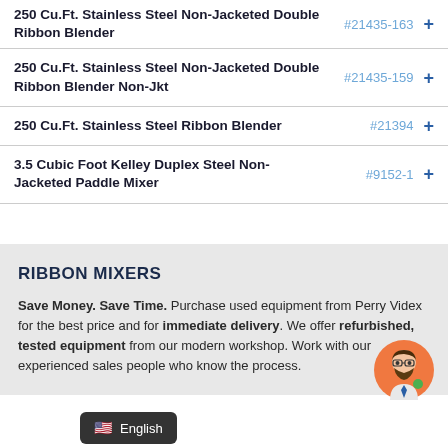250 Cu.Ft. Stainless Steel Non-Jacketed Double Ribbon Blender #21435-163
250 Cu.Ft. Stainless Steel Non-Jacketed Double Ribbon Blender Non-Jkt #21435-159
250 Cu.Ft. Stainless Steel Ribbon Blender #21394
3.5 Cubic Foot Kelley Duplex Steel Non-Jacketed Paddle Mixer #9152-1
RIBBON MIXERS
Save Money. Save Time. Purchase used equipment from Perry Videx for the best price and for immediate delivery. We offer refurbished, tested equipment from our modern workshop. Work with our experienced sales people who know the process.
English